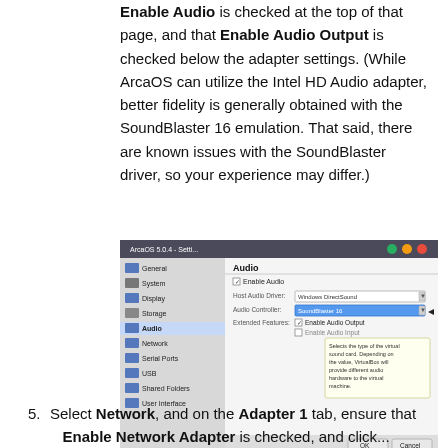Enable Audio is checked at the top of that page, and that Enable Audio Output is checked below the adapter settings. (While ArcaOS can utilize the Intel HD Audio adapter, better fidelity is generally obtained with the SoundBlaster 16 emulation. That said, there are known issues with the SoundBlaster driver, so your experience may differ.)
[Figure (screenshot): VirtualBox ArcaOS 5.0.4 Settings window showing Audio configuration with SoundBlaster 16 selected as Audio Controller, Enable Audio Output checked, and a tooltip visible.]
5. Select Network, and on the Adapter 1 tab, ensure that Enable Network Adapter is checked, and click...